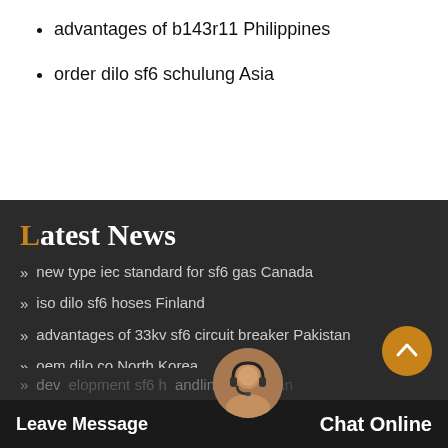advantages of b143r11 Philippines
order dilo sf6 schulung Asia
Latest News
new type iec standard for sf6 gas Canada
iso dilo sf6 hoses Finland
advantages of 33kv sf6 circuit breaker Pakistan
oem dilo co North Korea
how much sf6 is which type of gas United Kingdom
Custom Designed sf6 in switchgear Greenland
development sf6 handling Pakistan
Leave Message   Chat Online